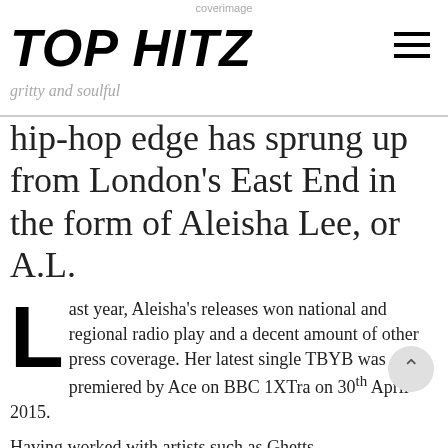coverimage
TOP HITZ
gritty and soulful
hip-hop edge has sprung up from London's East End in the form of Aleisha Lee, or A.L.
Last year, Aleisha's releases won national and regional radio play and a decent amount of other press coverage. Her latest single TBYB was premiered by Ace on BBC 1XTra on 30th April 2015.
Having worked with artists such as Ghetts,